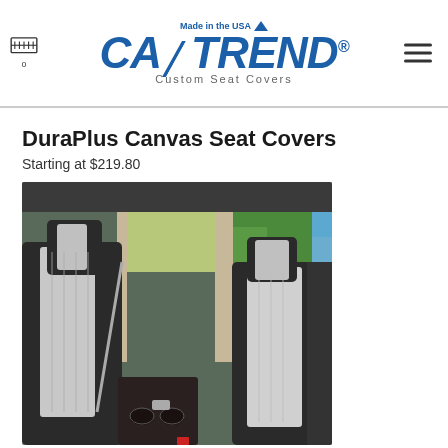CalTrend Custom Seat Covers — Made in the USA
DuraPlus Canvas Seat Covers
Starting at $219.80
[Figure (photo): Interior photo of a truck cab showing DuraPlus Canvas Seat Covers in black and light gray on the front seats, with rear seats visible in the background, green trees and blue sky through the window.]